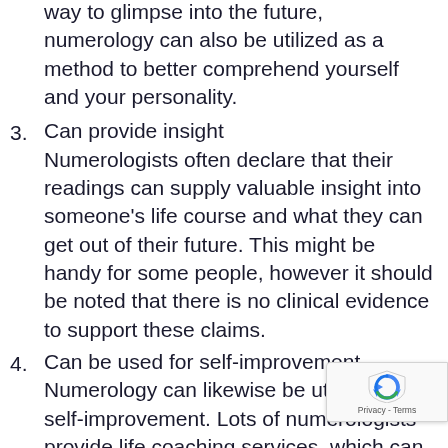way to glimpse into the future, numerology can also be utilized as a method to better comprehend yourself and your personality.
3. Can provide insight
Numerologists often declare that their readings can supply valuable insight into someone's life course and what they can get out of their future. This might be handy for some people, however it should be noted that there is no clinical evidence to support these claims.
4. Can be used for self-improvement
Numerology can likewise be utilized for self-improvement. Lots of numerologists provide life coaching services. which can help someone to